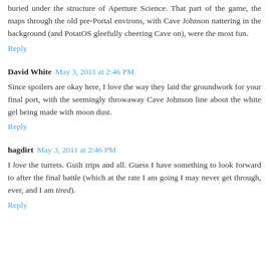buried under the structure of Aperture Science. That part of the game, the maps through the old pre-Portal environs, with Cave Johnson nattering in the background (and PotatOS gleefully cheering Cave on), were the most fun.
Reply
David White  May 3, 2011 at 2:46 PM
Since spoilers are okay here, I love the way they laid the groundwork for your final port, with the seemingly throwaway Cave Johnson line about the white gel being made with moon dust.
Reply
hagdirt  May 3, 2011 at 2:46 PM
I love the turrets. Guilt trips and all. Guess I have something to look forward to after the final battle (which at the rate I am going I may never get through, ever, and I am tired).
Reply